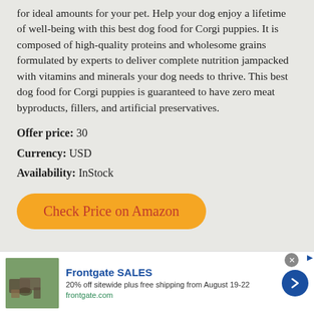for ideal amounts for your pet. Help your dog enjoy a lifetime of well-being with this best dog food for Corgi puppies. It is composed of high-quality proteins and wholesome grains formulated by experts to deliver complete nutrition jampacked with vitamins and minerals your dog needs to thrive. This best dog food for Corgi puppies is guaranteed to have zero meat byproducts, fillers, and artificial preservatives.
Offer price: 30
Currency: USD
Availability: InStock
Check Price on Amazon
[Figure (screenshot): Advertisement banner for Frontgate SALES showing outdoor furniture image, text '20% off sitewide plus free shipping from August 19-22', frontgate.com link, and a blue arrow button.]